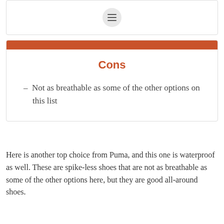[Figure (screenshot): A card widget with a hamburger menu icon (three horizontal lines) centered inside a circular grey button, displayed within a white bordered card.]
Cons
- Not as breathable as some of the other options on this list
Here is another top choice from Puma, and this one is waterproof as well. These are spike-less shoes that are not as breathable as some of the other options here, but they are good all-around shoes.